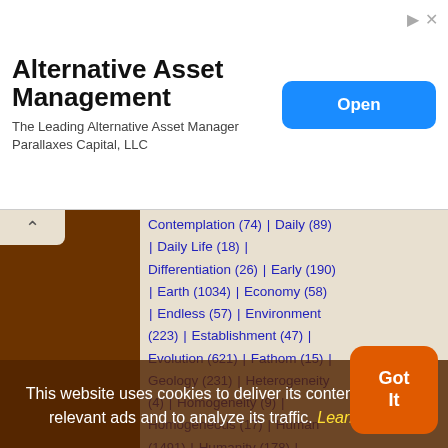[Figure (screenshot): Advertisement banner for Alternative Asset Management / Parallaxes Capital LLC with an Open button]
Contemplation (74) | Daily (89) | Daily Life (18) | Differentiation (26) | Early (190) | Earth (1034) | Economy (58) | Endless (57) | Environment (223) | Establishment (47) | Evolution (621) | Fathom (15) | Geology (231) | Heterogeneity (4) | Homogeneity (9) | Homogeneous (17) | Human (1491) | Humanity (178) | Individual (411) | Induction (81) | Kind (559) | Life (1830) | Multiplication (45) | Novelty (31) | Organism (225) | Organization (117) | Past (343) | Political (122) | Politics (118) | Process (430) | Product (162) | Progress (483) | Race (273) | Reason (757) | Religion (364) | Religious (130) | Remoter | Simple | Single | Simplicity (172) | Society (359) | Succession (78) | Successive
This website uses cookies to deliver its content, to show relevant ads and to analyze its traffic. Learn More
Got It